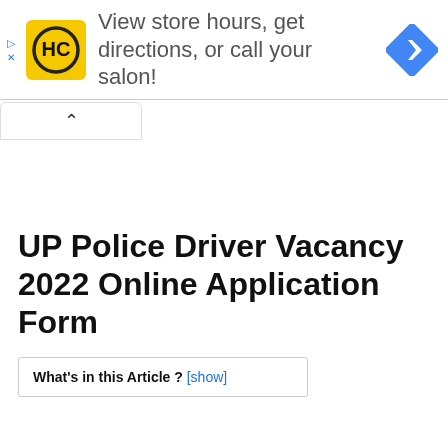[Figure (infographic): HC salon advertisement banner with yellow HC logo, text 'View store hours, get directions, or call your salon!', and a blue diamond navigation icon on the right. Small play and X controls on the left edge.]
[Figure (screenshot): Collapsed browser UI element showing an upward-pointing chevron (^) inside a rounded tab-style bar.]
UP Police Driver Vacancy 2022 Online Application Form
What's in this Article ? [show]